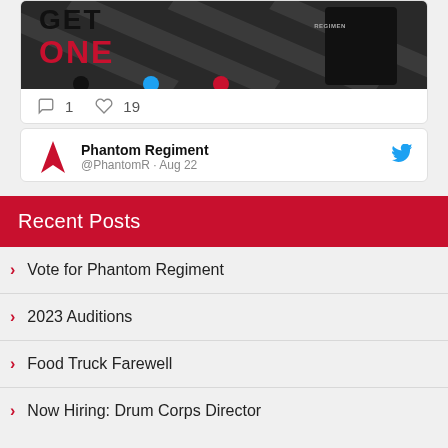[Figure (screenshot): Tweet card showing a promotional image with 'GET ONE' text in black and red, a dark shirt/apparel graphic, and diagonal line background. Shows 1 comment and 19 likes.]
[Figure (screenshot): Second tweet card showing Phantom Regiment Twitter account header with red logo, account name 'Phantom Regiment', handle '@PhantomR', and date 'Aug 22', with Twitter bird icon.]
Recent Posts
Vote for Phantom Regiment
2023 Auditions
Food Truck Farewell
Now Hiring: Drum Corps Director